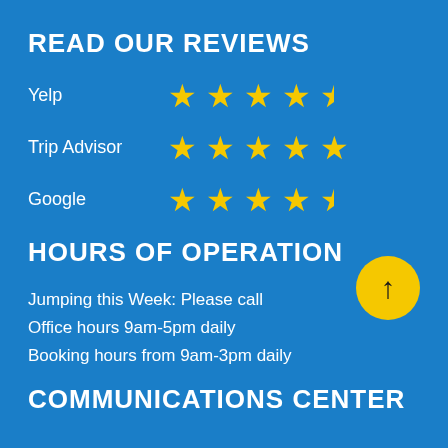READ OUR REVIEWS
Yelp — 4.5 stars
Trip Advisor — 5 stars
Google — 4.5 stars
HOURS OF OPERATION
Jumping this Week: Please call
Office hours 9am-5pm daily
Booking hours from 9am-3pm daily
[Figure (other): Yellow circle with upward arrow icon]
COMMUNICATIONS CENTER